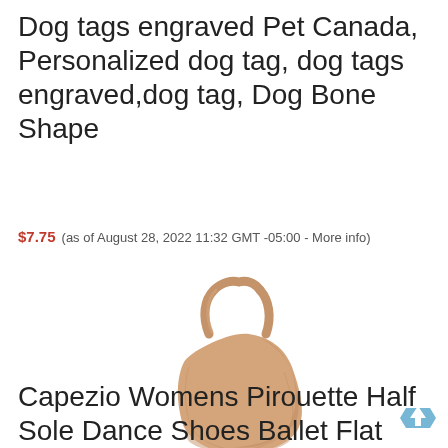Dog tags engraved Pet Canada, Personalized dog tag, dog tags engraved,dog tag, Dog Bone Shape
$7.75  (as of August 28, 2022 11:32 GMT -05:00 - More info)
[Figure (photo): Product photo of a tan/beige ballet half sole dance shoe with elastic strap loop, on white background]
Capezio Womens Pirouette Half Sole Dance Shoes Ballet Flat